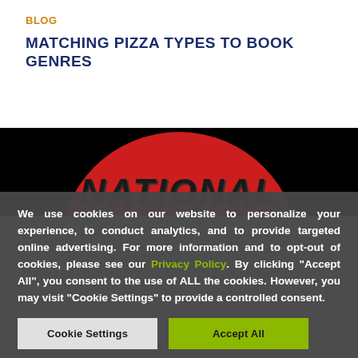BLOG
MATCHING PIZZA TYPES TO BOOK GENRES
[Figure (photo): Red circular logo with the word NATIONAL in large dark italic letters on a black background]
We use cookies on our website to personalize your experience, to conduct analytics, and to provide targeted online advertising. For more information and to opt-out of cookies, please see our Privacy Policy. By clicking "Accept All", you consent to the use of ALL the cookies. However, you may visit "Cookie Settings" to provide a controlled consent.